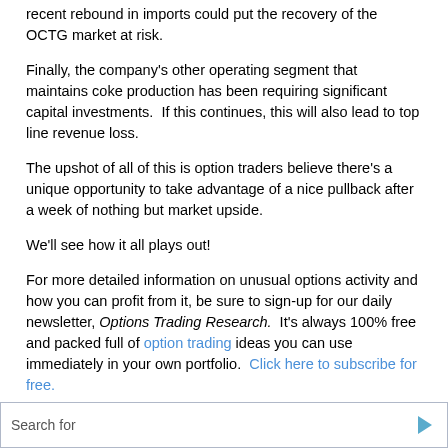recent rebound in imports could put the recovery of the OCTG market at risk.
Finally, the company's other operating segment that maintains coke production has been requiring significant capital investments.  If this continues, this will also lead to top line revenue loss.
The upshot of all of this is option traders believe there's a unique opportunity to take advantage of a nice pullback after a week of nothing but market upside.
We'll see how it all plays out!
For more detailed information on unusual options activity and how you can profit from it, be sure to sign-up for our daily newsletter, Options Trading Research.  It's always 100% free and packed full of option trading ideas you can use immediately in your own portfolio.  Click here to subscribe for free.
Safe Trading,
Marcus Haber